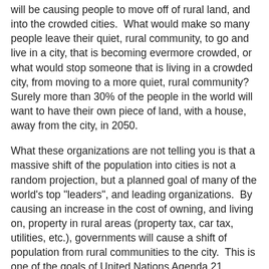will be causing people to move off of rural land, and into the crowded cities.  What would make so many people leave their quiet, rural community, to go and live in a city, that is becoming evermore crowded, or what would stop someone that is living in a crowded city, from moving to a more quiet, rural community?  Surely more than 30% of the people in the world will want to have their own piece of land, with a house, away from the city, in 2050.
What these organizations are not telling you is that a massive shift of the population into cities is not a random projection, but a planned goal of many of the world's top "leaders", and leading organizations.  By causing an increase in the cost of owning, and living on, property in rural areas (property tax, car tax, utilities, etc.), governments will cause a shift of population from rural communities to the city.  This is one of the goals of United Nations Agenda 21.  Agenda 21 is a massive plan, or program of action, for the 21st century, developed by the United Nations, and connected organizations, that would require every resource in the world, including humans, to be collectivized, and controlled.  If you have never heard of, or are looking to